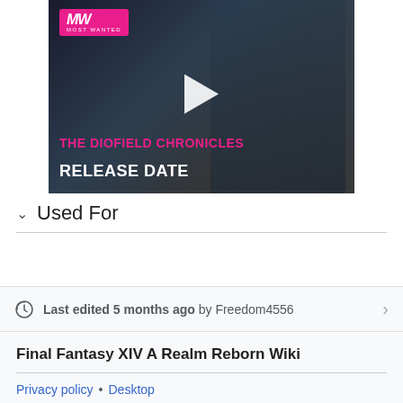[Figure (screenshot): Video thumbnail for The Diofield Chronicles Release Date from Most Wanted (MW) channel, showing a character and pink/white title text with a play button overlay]
Used For
Last edited 5 months ago by Freedom4556
Final Fantasy XIV A Realm Reborn Wiki
Privacy policy • Desktop